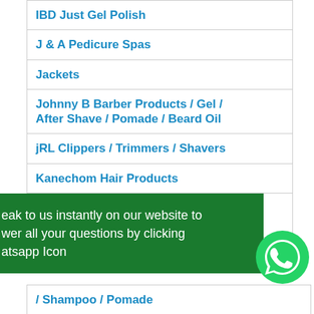IBD Just Gel Polish
J & A Pedicure Spas
Jackets
Johnny B Barber Products / Gel / After Shave / Pomade / Beard Oil
jRL Clippers / Trimmers / Shavers
Kanechom Hair Products
Keragen - Keratin + Collagen Hair Smoothing Treatments
eak to us instantly on our website to wer all your questions by clicking atsapp Icon
[Figure (logo): WhatsApp icon - green circle with white phone/chat logo]
/ Shampoo / Pomade